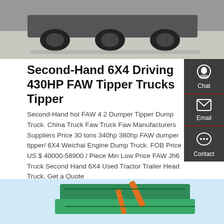[Figure (photo): Top portion showing underside/rear of trucks on a concrete surface]
Second-Hand 6X4 Driving 430HP FAW Tipper Trucks Tipper
Second-Hand hot FAW 4 2 Dumper Tipper Dump Truck. China Truck Faw Truck Faw Manufacturers Suppliers Price 30 tons 340hp 380hp FAW dumper tipper/ 6X4 Weichai Engine Dump Truck. FOB Price US $ 40000-58900 / Piece Min Low Price FAW Jh6 Truck Second Hand 6X4 Used Tractor Trailer Head Truck. Get a Quote
[Figure (other): GET A QUOTE button (red rounded rectangle)]
[Figure (photo): Bottom portion showing a green tipper truck body against a light blue sky]